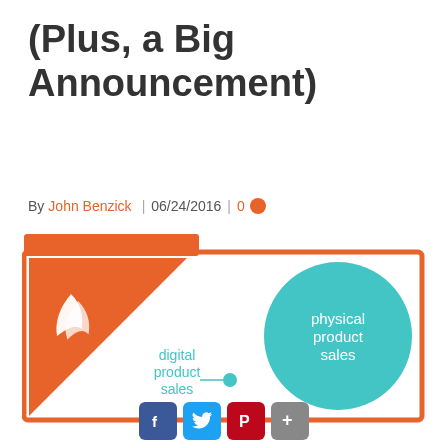(Plus, a Big Announcement)
By John Benzick | 06/24/2016 | 0
[Figure (infographic): Infographic showing digital product sales (small teal circle) vs physical product sales (large teal circle) with orange diagonal design and logo mark on left side.]
[Figure (infographic): Social sharing buttons row: Facebook, Twitter, Pinterest, Share]